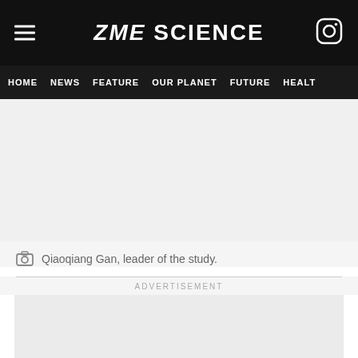ZME SCIENCE
HOME  NEWS  FEATURE  OUR PLANET  FUTURE  HEALT
[Figure (photo): Gray placeholder image area for a photo of Qiaoqiang Gan]
Qiaoqiang Gan, leader of the study.
ADVERTISEMENT
[Figure (other): Advertisement placeholder box]